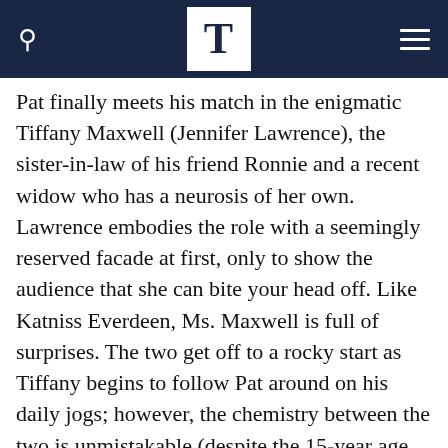T
Pat finally meets his match in the enigmatic Tiffany Maxwell (Jennifer Lawrence), the sister-in-law of his friend Ronnie and a recent widow who has a neurosis of her own. Lawrence embodies the role with a seemingly reserved facade at first, only to show the audience that she can bite your head off. Like Katniss Everdeen, Ms. Maxwell is full of surprises. The two get off to a rocky start as Tiffany begins to follow Pat around on his daily jogs; however, the chemistry between the two is unmistakable (despite the 15-year age gap between the two leads). In his well-crafted screenplay, Russell weaves hilarious conversations between the two. She is also Pat's loophole around the restraining order, so the two strike a deal: She will deliver a letter to his wife if he agrees to be her partner